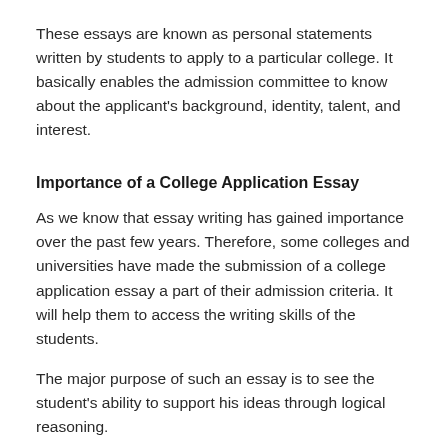These essays are known as personal statements written by students to apply to a particular college. It basically enables the admission committee to know about the applicant's background, identity, talent, and interest.
Importance of a College Application Essay
As we know that essay writing has gained importance over the past few years. Therefore, some colleges and universities have made the submission of a college application essay a part of their admission criteria. It will help them to access the writing skills of the students.
The major purpose of such an essay is to see the student's ability to support his ideas through logical reasoning.